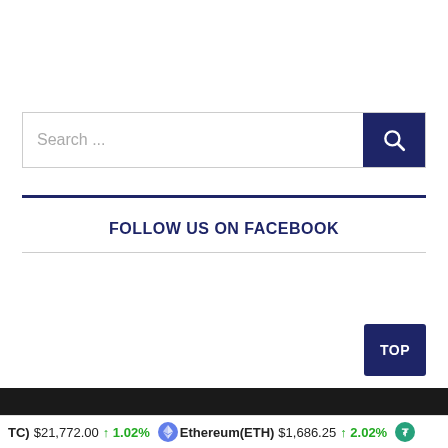[Figure (screenshot): Search bar with text 'Search ...' and a dark blue search button with magnifying glass icon]
FOLLOW US ON FACEBOOK
[Figure (other): TOP button - dark blue rounded rectangle with white text]
Ticker bar: (TC) $21,772.00 ↑ 1.02% Ethereum(ETH) $1,686.25 ↑ 2.02%